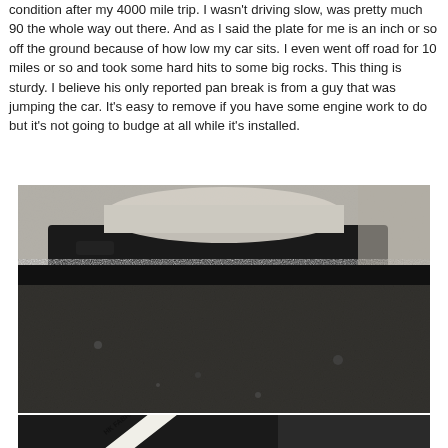condition after my 4000 mile trip. I wasn't driving slow, was pretty much 90 the whole way out there. And as I said the plate for me is an inch or so off the ground because of how low my car sits. I even went off road for 10 miles or so and took some hard hits to some big rocks. This thing is sturdy. I believe his only reported pan break is from a guy that was jumping the car. It's easy to remove if you have some engine work to do but it's not going to budge at all while it's installed.
[Figure (photo): Close-up photo of a car skid plate from below, showing a rough textured black surface with an exhaust tip visible at the upper portion.]
[Figure (photo): Undercarriage photo showing a black fabricated skid plate with an HK FABRICATION sticker/label visible on the plate surface.]